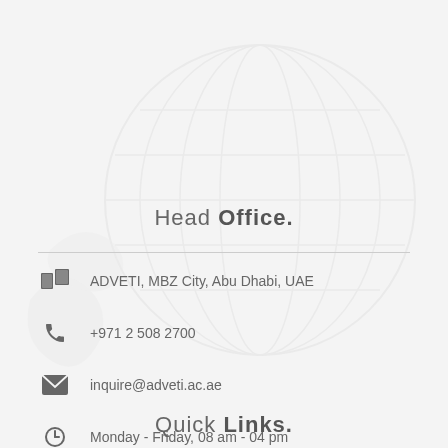[Figure (illustration): Light grey watermark background illustration of a globe/map shape]
Head Office.
ADVETI, MBZ City, Abu Dhabi, UAE
+971 2 508 2700
inquire@adveti.ac.ae
Monday - Friday, 08 am - 04 pm
Quick Links.